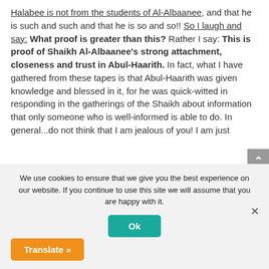Halabee is not from the students of Al-Albaanee, and that he is such and such and that he is so and so!! So I laugh and say: What proof is greater than this? Rather I say: This is proof of Shaikh Al-Albaanee's strong attachment, closeness and trust in Abul-Haarith. In fact, what I have gathered from these tapes is that Abul-Haarith was given knowledge and blessed in it, for he was quick-witted in responding in the gatherings of the Shaikh about information that only someone who is well-informed is able to do. In general...do not think that I am jealous of you! I am just
We use cookies to ensure that we give you the best experience on our website. If you continue to use this site we will assume that you are happy with it.